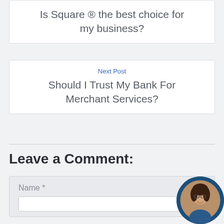Is Square ® the best choice for my business?
Next Post
Should I Trust My Bank For Merchant Services?
Leave a Comment:
Name *